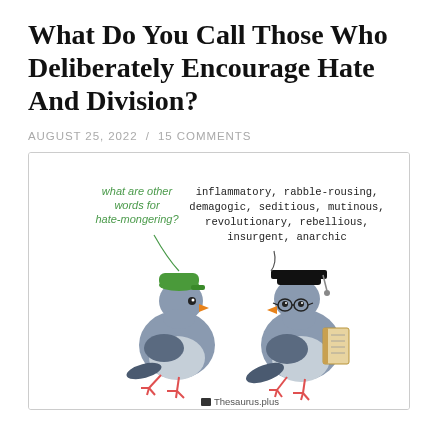What Do You Call Those Who Deliberately Encourage Hate And Division?
AUGUST 25, 2022  /  15 COMMENTS
[Figure (illustration): Two illustrated pigeons side by side inside a bordered box. Left pigeon wears a green baseball cap and has a speech bubble asking 'what are other words for hate-mongering?' in green text. Right pigeon wears a graduation cap and glasses and holds a book, with a speech bubble answering 'inflammatory, rabble-rousing, demagogic, seditious, mutinous, revolutionary, rebellious, insurgent, anarchic' in black monospace text. Below the pigeons is the logo text 'Thesaurus.plus'.]